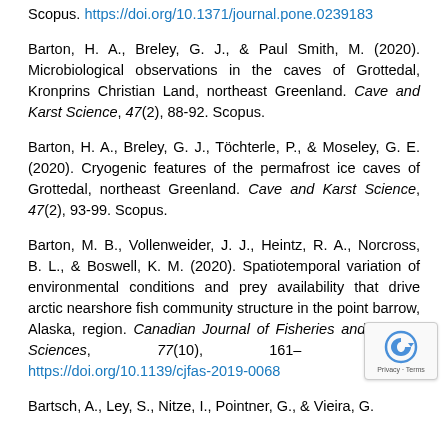Scopus. https://doi.org/10.1371/journal.pone.0239183
Barton, H. A., Breley, G. J., & Paul Smith, M. (2020). Microbiological observations in the caves of Grottedal, Kronprins Christian Land, northeast Greenland. Cave and Karst Science, 47(2), 88-92. Scopus.
Barton, H. A., Breley, G. J., Töchterle, P., & Moseley, G. E. (2020). Cryogenic features of the permafrost ice caves of Grottedal, northeast Greenland. Cave and Karst Science, 47(2), 93-99. Scopus.
Barton, M. B., Vollenweider, J. J., Heintz, R. A., Norcross, B. L., & Boswell, K. M. (2020). Spatiotemporal variation of environmental conditions and prey availability that drive arctic nearshore fish community structure in the point barrow, Alaska, region. Canadian Journal of Fisheries and Aquatic Sciences, 77(10), 161[...] Scopus. https://doi.org/10.1139/cjfas-2019-0068[...]
Bartsch, A., Ley, S., Nitze, I., Pointner, G., & Vieira, G.